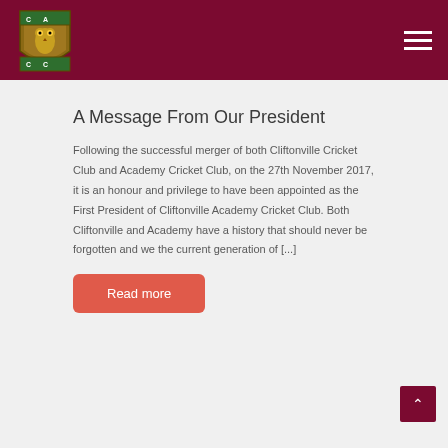[Figure (logo): Cliftonville Academy Cricket Club shield logo with owl, on dark maroon header bar]
A Message From Our President
Following the successful merger of both Cliftonville Cricket Club and Academy Cricket Club, on the 27th November 2017, it is an honour and privilege to have been appointed as the First President of Cliftonville Academy Cricket Club. Both Cliftonville and Academy have a history that should never be forgotten and we the current generation of [...]
Read more